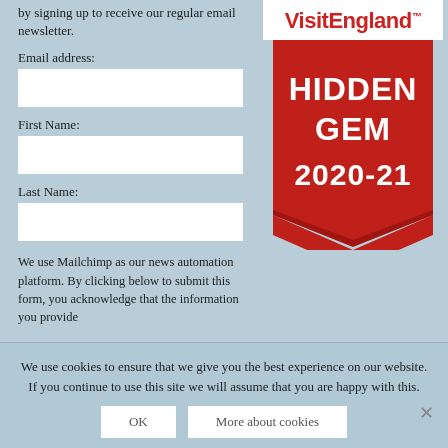by signing up to receive our regular email newsletter.
[Figure (logo): VisitEngland logo with red text on white background]
[Figure (other): VisitEngland Hidden Gem 2020-21 red ribbon badge]
Email address:
First Name:
Last Name:
We use Mailchimp as our news automation platform. By clicking below to submit this form, you acknowledge that the information you provide
We use cookies to ensure that we give you the best experience on our website. If you continue to use this site we will assume that you are happy with this.